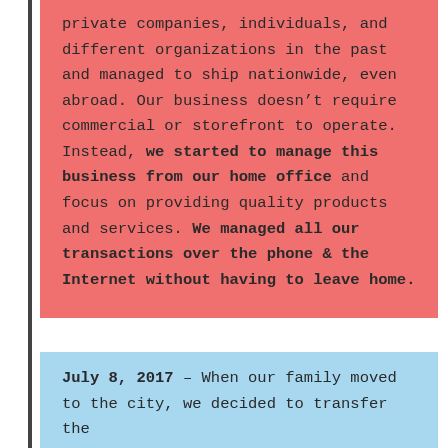private companies, individuals, and different organizations in the past and managed to ship nationwide, even abroad. Our business doesn't require commercial or storefront to operate. Instead, we started to manage this business from our home office and focus on providing quality products and services. We managed all our transactions over the phone & the Internet without having to leave home.
July 8, 2017 – When our family moved to the city, we decided to transfer the